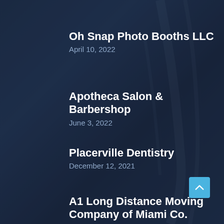Oh Snap Photo Booths LLC
April 10, 2022
Apotheca Salon & Barbershop
June 3, 2022
Placerville Dentistry
December 12, 2021
A1 Long Distance Moving Company of Miami Co.
May 11, 2022
Wolf Media ltd